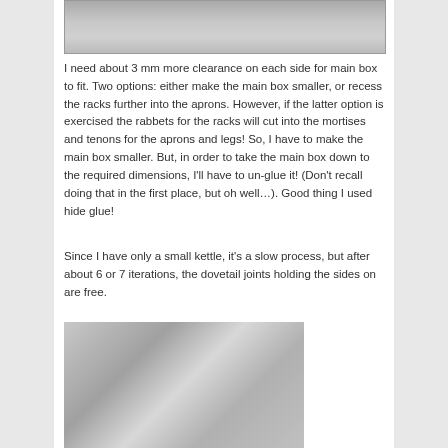[Figure (photo): Black and white photo — partial view of woodworking piece, top of page]
I need about 3 mm more clearance on each side for main box to fit. Two options: either make the main box smaller, or recess the racks further into the aprons. However, if the latter option is exercised the rabbets for the racks will cut into the mortises and tenons for the aprons and legs! So, I have to make the main box smaller. But, in order to take the main box down to the required dimensions, I'll have to un-glue it! (Don't recall doing that in the first place, but oh well…). Good thing I used hide glue!
Since I have only a small kettle, it's a slow process, but after about 6 or 7 iterations, the dovetail joints holding the sides on are free.
[Figure (photo): Black and white photo — woodworking dovetail joints and clamps close-up]